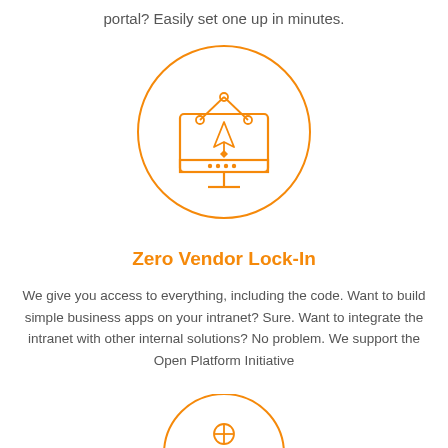portal? Easily set one up in minutes.
[Figure (illustration): Orange circle with a design/pen-tool and monitor icon inside, representing design or customization]
Zero Vendor Lock-In
We give you access to everything, including the code. Want to build simple business apps on your intranet? Sure. Want to integrate the intranet with other internal solutions? No problem. We support the Open Platform Initiative
[Figure (illustration): Partial orange circle visible at bottom of page, another icon section]